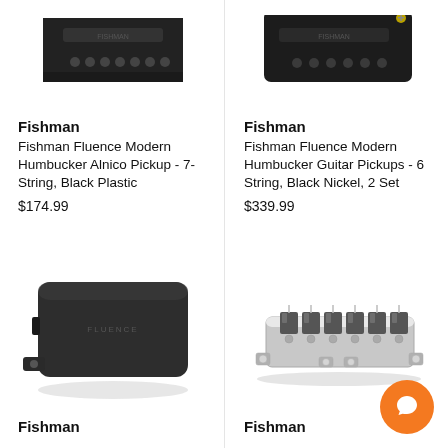[Figure (photo): Fishman Fluence Modern Humbucker Alnico 7-String pickup, black, partial top view]
Fishman
Fishman Fluence Modern Humbucker Alnico Pickup - 7-String, Black Plastic
$174.99
[Figure (photo): Fishman Fluence Modern Humbucker Guitar Pickup, black nickel, partial top view]
Fishman
Fishman Fluence Modern Humbucker Guitar Pickups - 6 String, Black Nickel, 2 Set
$339.99
[Figure (photo): Fishman Fluence pickup, black rectangular housing with label, bottom-left mount tab visible]
Fishman
[Figure (photo): Guitar bridge, chrome/silver metal with saddles and mounting screws]
Fishman